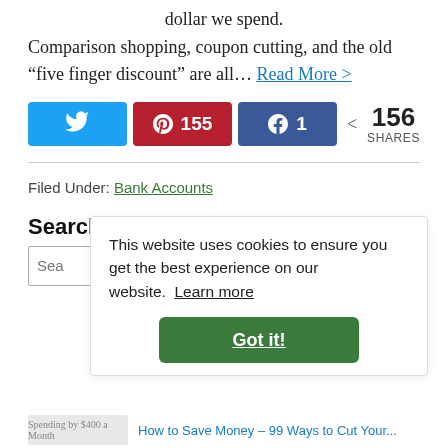dollar we spend. Comparison shopping, coupon cutting, and the old “five finger discount” are all… Read More >
[Figure (infographic): Social share buttons: Twitter button, Pinterest button with count 155, Facebook button with count 1, and share count showing 156 SHARES]
Filed Under: Bank Accounts
Search
This website uses cookies to ensure you get the best experience on our website.  Learn more
Got it!
Popu
How to Save Money – 99 Ways to Cut Your...